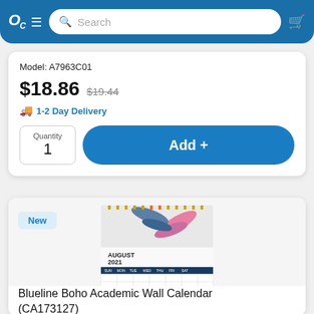[Figure (screenshot): E-commerce website header with logo OC, hamburger menu, search bar, and cart icon on blue background]
Model: A7963C01
$18.86 $19.44
1-2 Day Delivery
Quantity 1
Add +
New
[Figure (photo): Blueline Boho Academic Wall Calendar showing August 2021 with colorful feather/floral design]
Blueline Boho Academic Wall Calendar (CA173127)